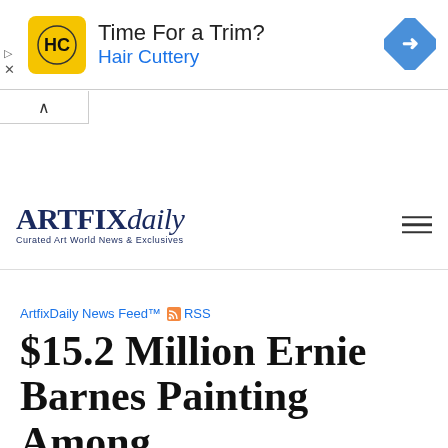[Figure (other): Hair Cuttery advertisement banner with HC logo in yellow square, text 'Time For a Trim?' and 'Hair Cuttery' in blue, and a blue diamond navigation icon on the right]
[Figure (logo): ARTFIXdaily logo with tagline 'Curated Art World News & Exclusives' and hamburger menu icon]
ArtfixDaily News Feed™ RSS
$15.2 Million Ernie Barnes Painting Among Record-Setters in